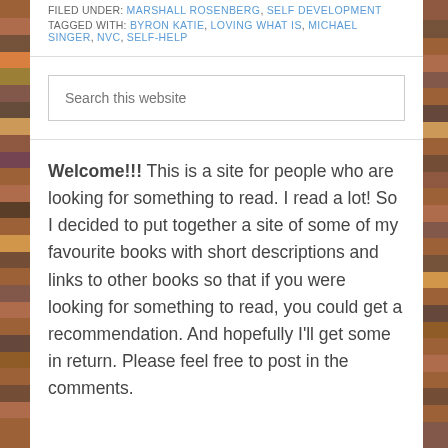FILED UNDER: MARSHALL ROSENBERG, SELF DEVELOPMENT TAGGED WITH: BYRON KATIE, LOVING WHAT IS, MICHAEL SINGER, NVC, SELF-HELP
Search this website
Welcome!!! This is a site for people who are looking for something to read. I read a lot! So I decided to put together a site of some of my favourite books with short descriptions and links to other books so that if you were looking for something to read, you could get a recommendation. And hopefully I'll get some in return. Please feel free to post in the comments.